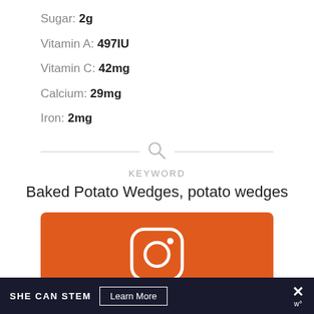Sugar: 2g
Vitamin A: 497IU
Vitamin C: 42mg
Calcium: 29mg
Iron: 2mg
KEYWORD
Baked Potato Wedges, potato wedges
[Figure (infographic): Orange Instagram promotional box with Instagram icon, text 'Tried this recipe?']
SHE CAN STEM  Learn More  X